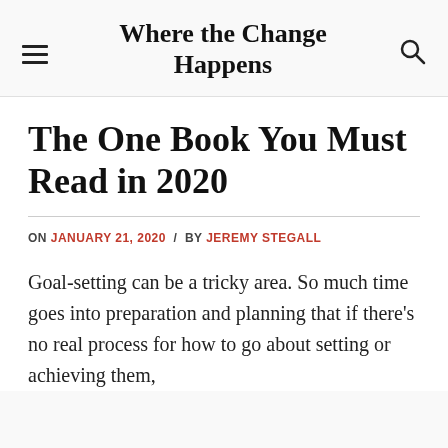Where the Change Happens
The One Book You Must Read in 2020
ON JANUARY 21, 2020 / BY JEREMY STEGALL
Goal-setting can be a tricky area. So much time goes into preparation and planning that if there's no real process for how to go about setting or achieving them,